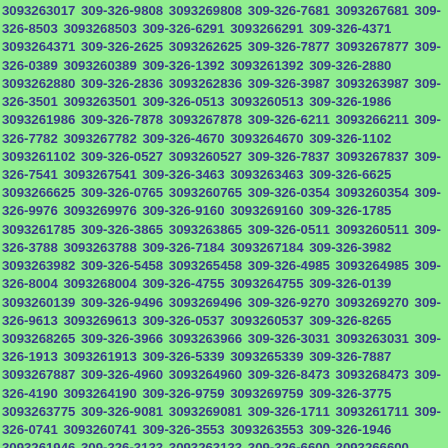3093263017 309-326-9808 3093269808 309-326-7681 3093267681 309-326-8503 3093268503 309-326-6291 3093266291 309-326-4371 3093264371 309-326-2625 3093262625 309-326-7877 3093267877 309-326-0389 3093260389 309-326-1392 3093261392 309-326-2880 3093262880 309-326-2836 3093262836 309-326-3987 3093263987 309-326-3501 3093263501 309-326-0513 3093260513 309-326-1986 3093261986 309-326-7878 3093267878 309-326-6211 3093266211 309-326-7782 3093267782 309-326-4670 3093264670 309-326-1102 3093261102 309-326-0527 3093260527 309-326-7837 3093267837 309-326-7541 3093267541 309-326-3463 3093263463 309-326-6625 3093266625 309-326-0765 3093260765 309-326-0354 3093260354 309-326-9976 3093269976 309-326-9160 3093269160 309-326-1785 3093261785 309-326-3865 3093263865 309-326-0511 3093260511 309-326-3788 3093263788 309-326-7184 3093267184 309-326-3982 3093263982 309-326-5458 3093265458 309-326-4985 3093264985 309-326-8004 3093268004 309-326-4755 3093264755 309-326-0139 3093260139 309-326-9496 3093269496 309-326-9270 3093269270 309-326-9613 3093269613 309-326-0537 3093260537 309-326-8265 3093268265 309-326-3966 3093263966 309-326-3031 3093263031 309-326-1913 3093261913 309-326-5339 3093265339 309-326-7887 3093267887 309-326-4960 3093264960 309-326-8473 3093268473 309-326-4190 3093264190 309-326-9759 3093269759 309-326-3775 3093263775 309-326-9081 3093269081 309-326-1711 3093261711 309-326-0741 3093260741 309-326-3553 3093263553 309-326-1946 3093261946 309-326-3133 3093263133 309-326-6600 3093266600